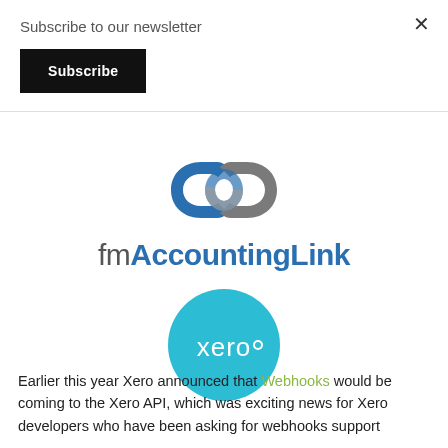Subscribe to our newsletter
Subscribe
[Figure (logo): fmAccountingLink logo — chain-link icon in blue and grey above the text 'fm AccountingLink']
[Figure (logo): Xero logo — teal circle with white 'xero' text inside]
Earlier this year Xero announced that Webhooks would be coming to the Xero API, which was exciting news for Xero developers who have been asking for webhooks support